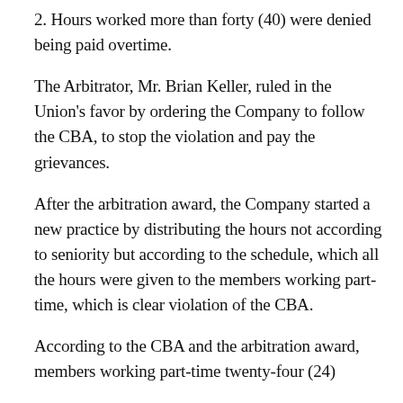2. Hours worked more than forty (40) were denied being paid overtime.
The Arbitrator, Mr. Brian Keller, ruled in the Union's favor by ordering the Company to follow the CBA, to stop the violation and pay the grievances.
After the arbitration award, the Company started a new practice by distributing the hours not according to seniority but according to the schedule, which all the hours were given to the members working part-time, which is clear violation of the CBA.
According to the CBA and the arbitration award, members working part-time twenty-four (24)